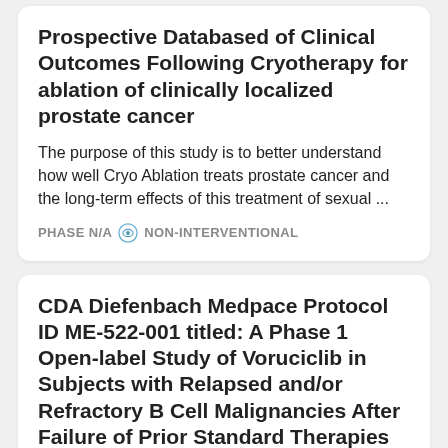Prospective Databased of Clinical Outcomes Following Cryotherapy for ablation of clinically localized prostate cancer
The purpose of this study is to better understand how well Cryo Ablation treats prostate cancer and the long-term effects of this treatment of sexual ...
PHASE N/A  NON-INTERVENTIONAL
CDA Diefenbach Medpace Protocol ID ME-522-001 titled: A Phase 1 Open-label Study of Voruciclib in Subjects with Relapsed and/or Refractory B Cell Malignancies After Failure of Prior Standard Therapies
If you have been diagnosed with a B cell type